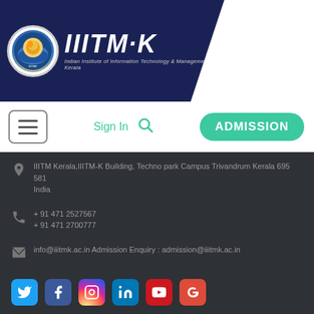[Figure (logo): IIITM-K logo with circular emblem and text 'Indian Institute of Information Technology & Management - Kerala' on dark navy background]
Sign In  [search icon]  ADMISSION
IIITM Kerala, IIITM-K Building, Techno park Campus Trivandrum Kerala 695 581 India
+ 91 471 2527567
+ 91 471 2700777
info@iiitmk.ac.in Admission Enquiry : admission@iiitmk.ac.in
[Figure (infographic): Social media icons row: Twitter, Facebook, Instagram, LinkedIn, YouTube, Google+]